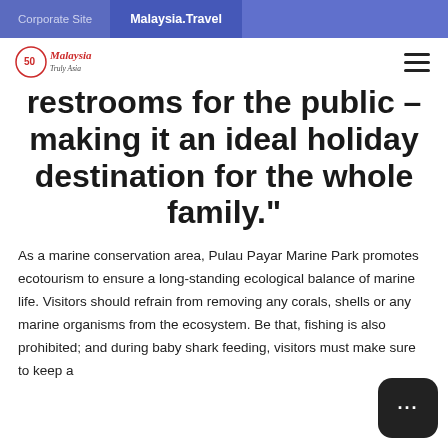Corporate Site | Malaysia.Travel
[Figure (logo): Malaysia Tourism 50th anniversary logo]
restrooms for the public – making it an ideal holiday destination for the whole family."
As a marine conservation area, Pulau Payar Marine Park promotes ecotourism to ensure a long-standing ecological balance of marine life. Visitors should refrain from removing any corals, shells or any marine organisms from the ecosystem. Be that, fishing is also prohibited; and during baby shark feeding, visitors must make sure to keep a